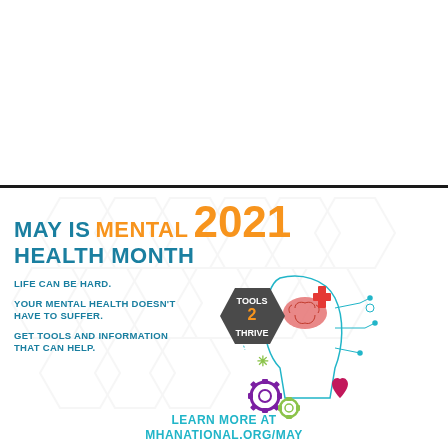MAY IS MENTAL HEALTH MONTH 2021
LIFE CAN BE HARD.
YOUR MENTAL HEALTH DOESN'T HAVE TO SUFFER.
GET TOOLS AND INFORMATION THAT CAN HELP.
[Figure (infographic): Tools 2 Thrive hexagon badge with mental health illustration showing a human head profile with brain, plus sign, heart, gears, and circuit elements in teal, orange, pink, and green]
LEARN MORE AT MHANATIONAL.ORG/MAY